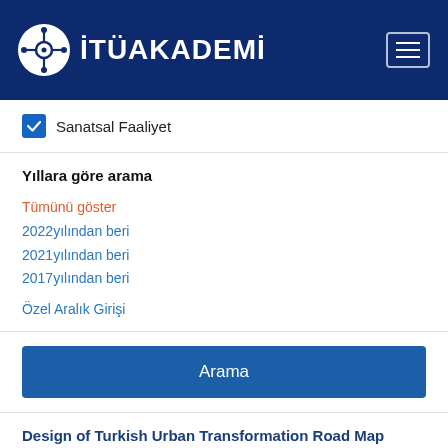[Figure (logo): ITU Akademi logo with network icon and white text on dark blue header bar with hamburger menu icon]
Sanatsal Faaliyet (checked checkbox)
Yıllara göre arama
Tümünü göster
2022yılından beri
2021yılından beri
2017yılından beri
Özel Aralık Girişi
Arama
Design of Turkish Urban Transformation Road Map
3th International Disaster and Resilience Congress,